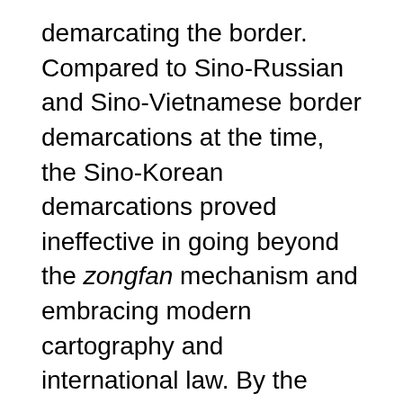demarcating the border. Compared to Sino-Russian and Sino-Vietnamese border demarcations at the time, the Sino-Korean demarcations proved ineffective in going beyond the zongfan mechanism and embracing modern cartography and international law. By the same token, as the author points out, their joint projects revealed that “the mutual political recognition” between them “remained relatively untainted” (p. 129), and that the boundary was virtually determined by “its engagement within the geopolitical network” (p. 139). This tension between zongfan and modern political arrangements was embodied by the geopolitical accounts of the “territorialization” (p. 140) of the very boundary area made by the distinguished Chinese official Wu Dacheng and his prominent